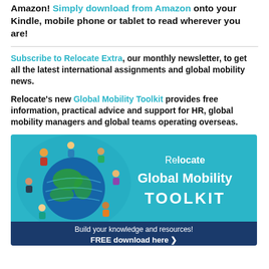Amazon! Simply download from Amazon onto your Kindle, mobile phone or tablet to read wherever you are!
Subscribe to Relocate Extra, our monthly newsletter, to get all the latest international assignments and global mobility news.
Relocate's new Global Mobility Toolkit provides free information, practical advice and support for HR, global mobility managers and global teams operating overseas.
[Figure (illustration): Relocate Global Mobility Toolkit banner ad. Shows a globe with people sitting around it viewed from above on the left, teal background on the right with text 'Relocate Global Mobility TOOLKIT'. Below in dark blue: 'Build your knowledge and resources! FREE download here >']